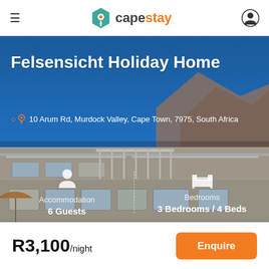[Figure (logo): CapeStay logo with teal hexagon map pin icon and orange 'stay' text]
Felsensicht Holiday Home
10 Arum Rd, Murdock Valley, Cape Town, 7975, South Africa
[Figure (photo): Holiday home exterior photo with blue sky and mountain backdrop, showing white building with balconies and railings]
Accommodation
6 Guests
Bedrooms
3 Bedrooms / 4 Beds
R3,100/night
Enquire